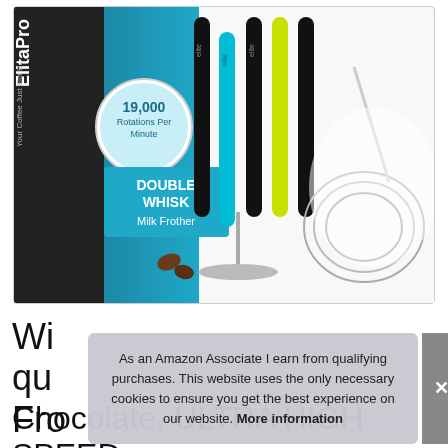[Figure (photo): Product photo of ElitaPro Double Whisk Milk Frother showing multiple frothers in black, teal, and yellow-green colors on stands, with a close-up of the double whisk attachment, coffee beans, and product box labeled '19,000 Rotations Per Minute, DOUBLE WHISK Milk Frother']
Wi
qu
Fro
As an Amazon Associate I earn from qualifying purchases. This website uses the only necessary cookies to ensure you get the best experience on our website. More information
Chocolate, ULTRA HIGH SPEED